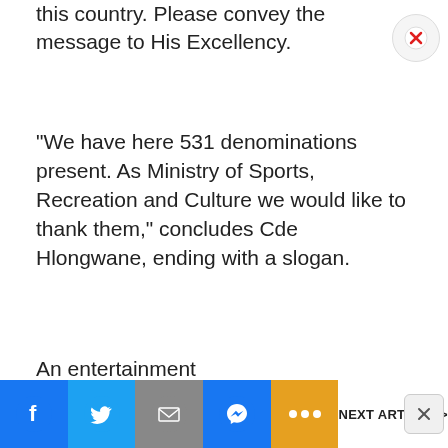this country. Please convey the message to His Excellency.
“We have here 531 denominations present. As Ministry of Sports, Recreation and Culture we would like to thank them,” concludes Cde Hlongwane, ending with a slogan.
An entertainment
[Figure (photo): Crowd at a stadium, stands filled with spectators]
NEXT ARTICLE >